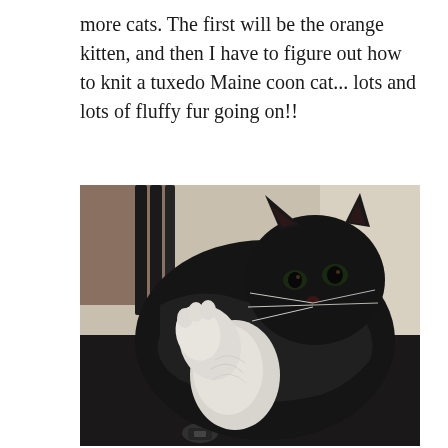more cats. The first will be the orange kitten, and then I have to figure out how to knit a tuxedo Maine coon cat... lots and lots of fluffy fur going on!!
[Figure (photo): A tuxedo Maine coon cat (black and white with long fur) wearing a red harness, lying/lounging on what appears to be a dark jacket or bag, with one white paw raised. The cat has distinct whiskers and is looking at the camera.]